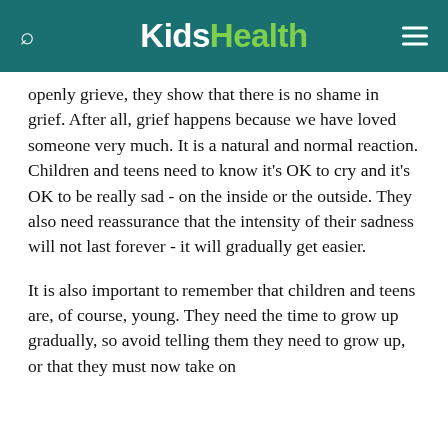KidsHealth
openly grieve, they show that there is no shame in grief. After all, grief happens because we have loved someone very much. It is a natural and normal reaction. Children and teens need to know it's OK to cry and it's OK to be really sad - on the inside or the outside. They also need reassurance that the intensity of their sadness will not last forever - it will gradually get easier.
It is also important to remember that children and teens are, of course, young. They need the time to grow up gradually, so avoid telling them they need to grow up, or that they must now take on